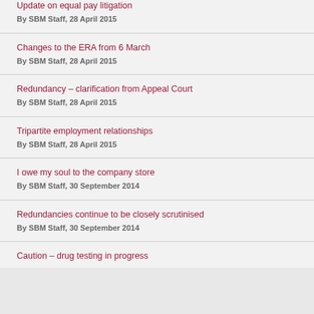Update on equal pay litigation
By SBM Staff, 28 April 2015
Changes to the ERA from 6 March
By SBM Staff, 28 April 2015
Redundancy – clarification from Appeal Court
By SBM Staff, 28 April 2015
Tripartite employment relationships
By SBM Staff, 28 April 2015
I owe my soul to the company store
By SBM Staff, 30 September 2014
Redundancies continue to be closely scrutinised
By SBM Staff, 30 September 2014
Caution – drug testing in progress